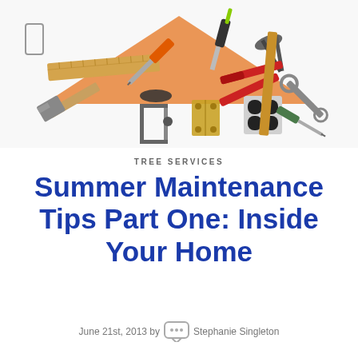[Figure (photo): Overhead flat-lay arrangement of various home maintenance tools (hammer, screwdrivers, pliers, wrench, clamps, square ruler, hinge, electrical outlet plate) arranged to form the shape of a house on a white background.]
TREE SERVICES
Summer Maintenance Tips Part One: Inside Your Home
June 21st, 2013 by Stephanie Singleton